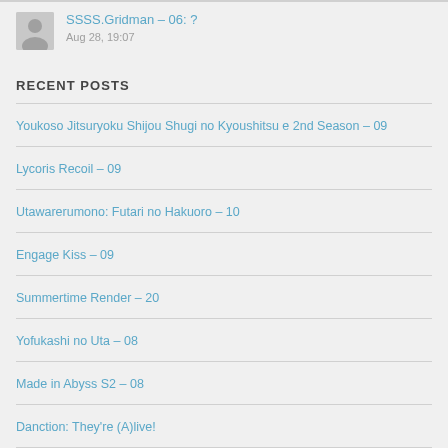SSSS.Gridman – 06: ?
Aug 28, 19:07
RECENT POSTS
Youkoso Jitsuryoku Shijou Shugi no Kyoushitsu e 2nd Season – 09
Lycoris Recoil – 09
Utawarerumono: Futari no Hakuoro – 10
Engage Kiss – 09
Summertime Render – 20
Yofukashi no Uta – 08
Made in Abyss S2 – 08
Danction: They're (A)live!